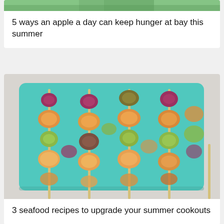[Figure (photo): Partial view of a green outdoor scene photo at the top of the page, cropped]
5 ways an apple a day can keep hunger at bay this summer
[Figure (photo): Photo of multiple seafood skewers with shrimp, scallops, and vegetables arranged on a teal/turquoise rectangular tray]
3 seafood recipes to upgrade your summer cookouts